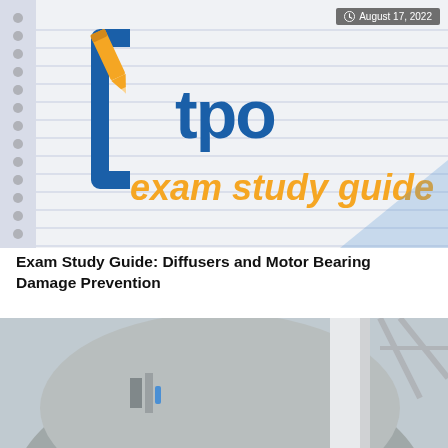[Figure (photo): ITPO exam study guide spiral notebook cover showing blue and orange ITPO logo and 'exam study guide' text in orange, with clock icon and date badge 'August 17, 2022' in top right]
Exam Study Guide: Diffusers and Motor Bearing Damage Prevention
[Figure (photo): Industrial equipment photo showing a large tank or vessel with metal framework and structural supports, with clock icon and date badge 'August 17, 2022' in top right]